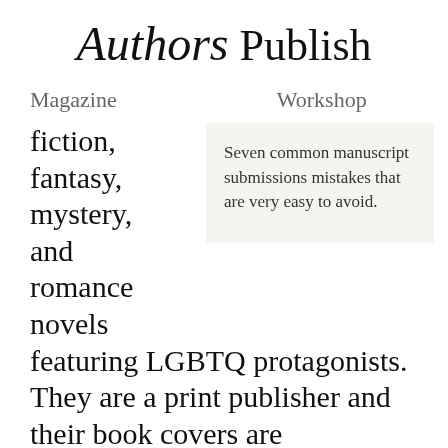Authors Publish
Magazine   Workshop   Books
fiction, fantasy, mystery, and romance novels featuring LGBTQ protagonists. They are a print publisher and their book covers are beautifully designed and really stand out. The books they have published have won and been nominated for a number of
Seven common manuscript submissions mistakes that are very easy to avoid.